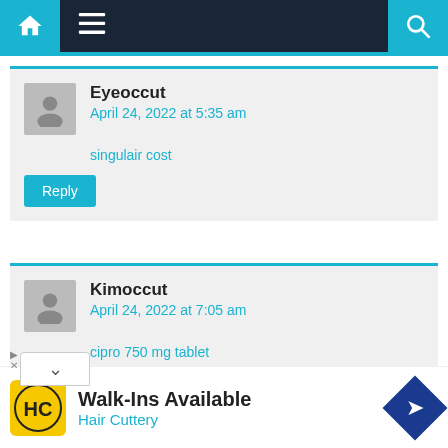Navigation bar with home, menu, and search icons
Eyeoccut
April 24, 2022 at 5:35 am
singulair cost
Reply
Kimoccut
April 24, 2022 at 7:05 am
cipro 750 mg tablet
[Figure (infographic): Advertisement banner: Walk-Ins Available - Hair Cuttery with logo]